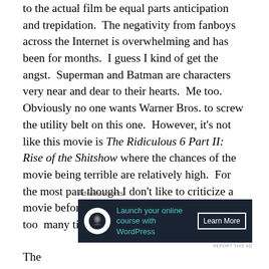to the actual film be equal parts anticipation and trepidation.  The negativity from fanboys across the Internet is overwhelming and has been for months.  I guess I kind of get the angst.  Superman and Batman are characters very near and dear to their hearts.  Me too.  Obviously no one wants Warner Bros. to screw the utility belt on this one.  However, it's not like this movie is The Ridiculous 6 Part II: Rise of the Shitshow where the chances of the movie being terrible are relatively high.  For the most part though I don't like to criticize a movie before it comes out.  I've been burned too  many times on both sides.
[Figure (other): Advertisement banner for 'Launch your online course with WordPress' with a Learn More call-to-action button on dark navy background]
The